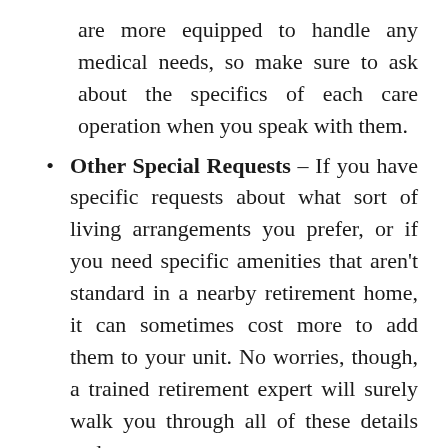are more equipped to handle any medical needs, so make sure to ask about the specifics of each care operation when you speak with them.
Other Special Requests – If you have specific requests about what sort of living arrangements you prefer, or if you need specific amenities that aren't standard in a nearby retirement home, it can sometimes cost more to add them to your unit. No worries, though, a trained retirement expert will surely walk you through all of these details and more.
You can Always Transfer to Another Othello, WA Senior Home!
Though you may be in your twilight